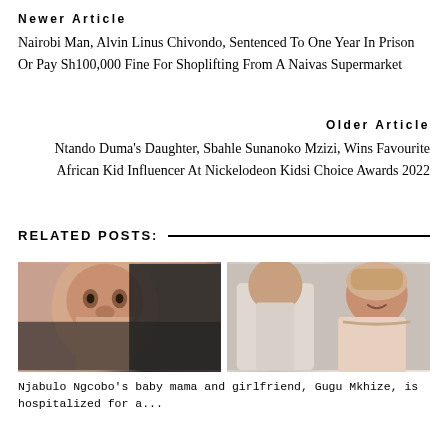Newer Article
Nairobi Man, Alvin Linus Chivondo, Sentenced To One Year In Prison Or Pay Sh100,000 Fine For Shoplifting From A Naivas Supermarket
Older Article
Ntando Duma's Daughter, Sbahle Sunanoko Mzizi, Wins Favourite African Kid Influencer At Nickelodeon Kidsi Choice Awards 2022
RELATED POSTS:
[Figure (photo): Two thumbnail photos side by side: left shows a close-up face of a child/woman, right shows a couple smiling dressed in formal/traditional attire.]
Njabulo Ngcobo's baby mama and girlfriend, Gugu Mkhize, is hospitalized for a...